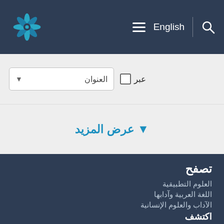Logo | English
عبر العنوان ▾
▾ عرض المزيد
تصفح
العلوم التطبيقية
اللغة العربية وآدابها
الآداب والعلوم الإنسانية
اكتشف
الموسوعات